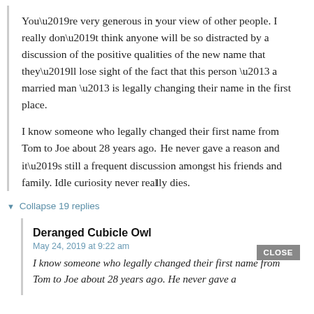You’re very generous in your view of other people. I really don’t think anyone will be so distracted by a discussion of the positive qualities of the new name that they’ll lose sight of the fact that this person – a married man – is legally changing their name in the first place.
I know someone who legally changed their first name from Tom to Joe about 28 years ago. He never gave a reason and it’s still a frequent discussion amongst his friends and family. Idle curiosity never really dies.
▼ Collapse 19 replies
Deranged Cubicle Owl
May 24, 2019 at 9:22 am
CLOSE
I know someone who legally changed their first name from Tom to Joe about 28 years ago. He never gave a